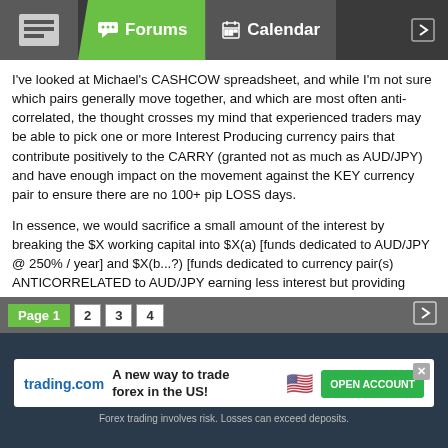Forums | Calendar
I've looked at Michael's CASHCOW spreadsheet, and while I'm not sure which pairs generally move together, and which are most often anti-correlated, the thought crosses my mind that experienced traders may be able to pick one or more Interest Producing currency pairs that contribute positively to the CARRY (granted not as much as AUD/JPY) and have enough impact on the movement against the KEY currency pair to ensure there are no 100+ pip LOSS days.
In essence, we would sacrifice a small amount of the interest by breaking the $X working capital into $X(a) [funds dedicated to AUD/JPY @ 250% / year] and $X(b...?) [funds dedicated to currency pair(s) ANTICORRELATED to AUD/JPY earning less interest but providing more interest-earning-time by reducing pip swings].
Now I've no idea if this throws a monkey wrench into the entire plan or not, however, if we can have more than 30% of the funds in Oanda earning interest SAFELY, so much the better.
Please think on this a bit and let me know if I'm just complicating things or if
Page 1  2  3  4
[Figure (screenshot): trading.com advertisement banner: A new way to trade forex in the US! OPEN ACCOUNT. Forex trading involves risk. Losses can exceed deposits.]